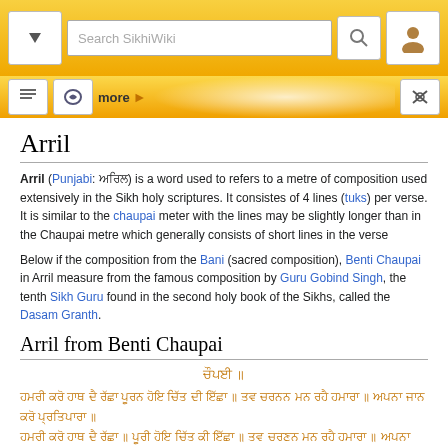Search SikhiWiki
Arril
Arril (Punjabi: ਅਰਿਲ) is a word used to refers to a metre of composition used extensively in the Sikh holy scriptures. It consistes of 4 lines (tuks) per verse. It is similar to the chaupai meter with the lines may be slightly longer than in the Chaupai metre which generally consists of short lines in the verse
Below if the composition from the Bani (sacred composition), Benti Chaupai in Arril measure from the famous composition by Guru Gobind Singh, the tenth Sikh Guru found in the second holy book of the Sikhs, called the Dasam Granth.
Arril from Benti Chaupai
ਚੌਪਈ ॥
ਹਮਰੀ ਕਰੋ ਹਾਥ ਦੈ ਰੱਛਾ ਪੂਰਨ ਹੋਇ ਚਿੱਤ ਦੀ ਇੱਛਾ ॥ ਤਵ ਚਰਨਨ ਮਨ ਰਹੈ ਹਮਾਰਾ ॥ ਅਪਨਾ ਜਾਨ ਕਰੋ ਪ੍ਰਤਿਪਾਰਾ ॥
ਹਮਰੀ ਕਰੋ ਹਾਥ ਦੈ ਰੱਛਾ ॥ ਪੂਰੀ ਹੋਇ ਚਿੱਤ ਕੀ ਇੱਛਾ ॥ ਤਵ ਚਰਣਨ ਮਨ ਰਹੈ ਹਮਾਰਾ ॥ ਅਪਨਾ ਜਾਨ ਕਰੋ ਪ੍ਰਤਿਪਾਲਾ ॥